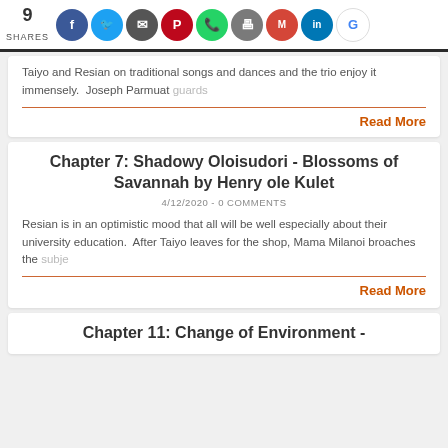9 SHARES [social share icons: Facebook, Twitter, Share, Pinterest, WhatsApp, Print, Gmail, LinkedIn, Google]
Taiyo and Resian on traditional songs and dances and the trio enjoy it immensely. Joseph Parmuat guards
Read More
Chapter 7: Shadowy Oloisudori - Blossoms of Savannah by Henry ole Kulet
4/12/2020 - 0 COMMENTS
Resian is in an optimistic mood that all will be well especially about their university education. After Taiyo leaves for the shop, Mama Milanoi broaches the subje
Read More
Chapter 11: Change of Environment -